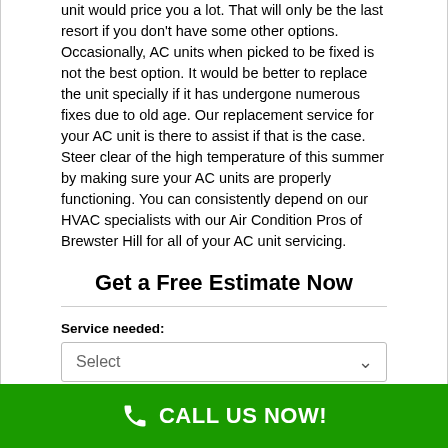unit would price you a lot. That will only be the last resort if you don't have some other options. Occasionally, AC units when picked to be fixed is not the best option. It would be better to replace the unit specially if it has undergone numerous fixes due to old age. Our replacement service for your AC unit is there to assist if that is the case. Steer clear of the high temperature of this summer by making sure your AC units are properly functioning. You can consistently depend on our HVAC specialists with our Air Condition Pros of Brewster Hill for all of your AC unit servicing.
Get a Free Estimate Now
Service needed:
Select
Choose the appropriate status for this project:
CALL US NOW!